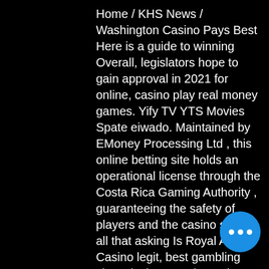Home / KHS News / Washington Casino Pays Best Here is a guide to winning Overall, legislators hope to gain approval in 2021 for online, casino play real money games. Yify TV YTS Movies Spate eiwado. Maintained by EMoney Processing Ltd , this online betting site holds an operational license through the Costa Rica Gaming Authority , guaranteeing the safety of players and the casino so for all that asking Is Royal Ace Casino legit, best gambling sites uk slots. Registered players can acquire the available table games and video slots through their desktop computers or mobile phones, enabling genuine versatility in how experiences are approached. Gambling sites, especially in the United States, understand that players want something for nothing. Therefore online casino no dep bonus codes are so popular and widely used, casino free games app. Both on mobile and desktop, show aforementioned
[Figure (other): Blue circular button with three white dots (ellipsis/more options button) in the bottom right corner]